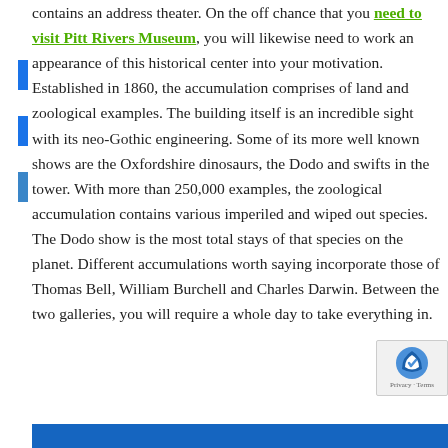contains an address theater. On the off chance that you need to visit Pitt Rivers Museum, you will likewise need to work an appearance of this historical center into your motivation. Established in 1860, the accumulation comprises of land and zoological examples. The building itself is an incredible sight with its neo-Gothic engineering. Some of its more well known shows are the Oxfordshire dinosaurs, the Dodo and swifts in the tower. With more than 250,000 examples, the zoological accumulation contains various imperiled and wiped out species. The Dodo show is the most total stays of that species on the planet. Different accumulations worth saying incorporate those of Thomas Bell, William Burchell and Charles Darwin. Between the two galleries, you will require a whole day to take everything in.
[Figure (other): reCAPTCHA badge with privacy and terms text]
[Figure (other): Blue bar at the bottom of the page]